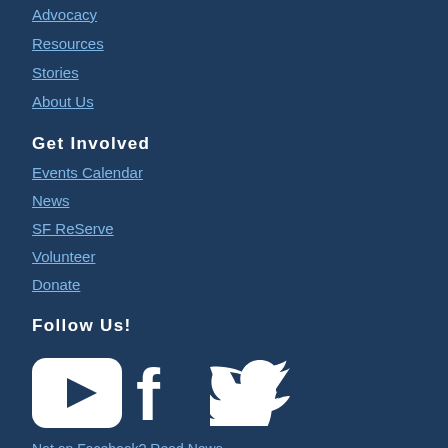Advocacy
Resources
Stories
About Us
Get Involved
Events Calendar
News
SF ReServe
Volunteer
Donate
Follow Us!
[Figure (illustration): Social media icons: YouTube, Facebook, Twitter]
Not on Facebook? Read News